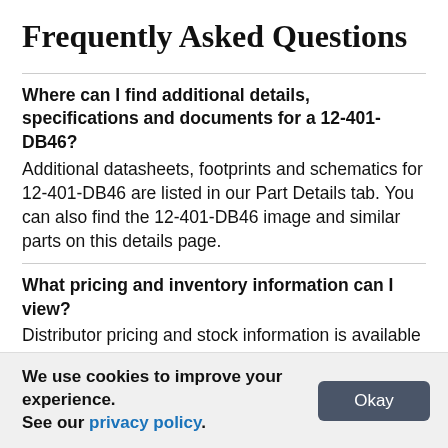Frequently Asked Questions
Where can I find additional details, specifications and documents for a 12-401-DB46?
Additional datasheets, footprints and schematics for 12-401-DB46 are listed in our Part Details tab. You can also find the 12-401-DB46 image and similar parts on this details page.
What pricing and inventory information can I view?
Distributor pricing and stock information is available for 12-401-DB46 in the Pricing & Inventory tab next to part details. You can view 12-401-DB46 price breaks, MOQs, lead times, inventory and SKUs from distributors.
We use cookies to improve your experience. See our privacy policy.